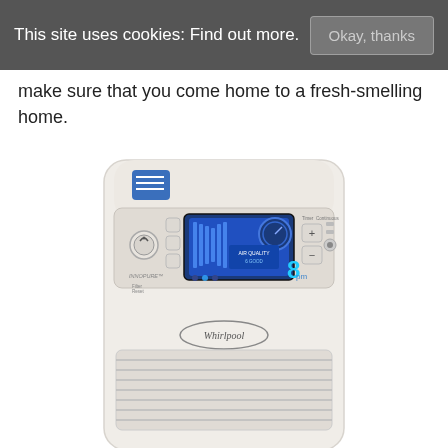This site uses cookies: Find out more. | Okay, thanks
make sure that you come home to a fresh-smelling home.
[Figure (photo): Whirlpool dehumidifier unit photographed from above-front angle, showing white casing with blue LCD control panel display, power button, filter reset button, and front vent grille. A blue Whirlpool brand logo sticker is visible on the top.]